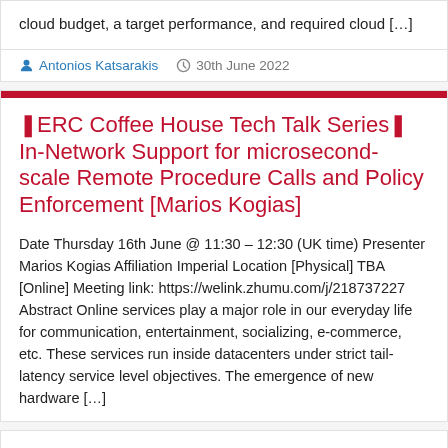cloud budget, a target performance, and required cloud […]
Antonios Katsarakis   30th June 2022
❚ERC Coffee House Tech Talk Series❚ In-Network Support for microsecond-scale Remote Procedure Calls and Policy Enforcement [Marios Kogias]
Date Thursday 16th June @ 11:30 – 12:30 (UK time) Presenter Marios Kogias Affiliation Imperial Location [Physical] TBA [Online] Meeting link: https://welink.zhumu.com/j/218737227 Abstract Online services play a major role in our everyday life for communication, entertainment, socializing, e-commerce, etc. These services run inside datacenters under strict tail-latency service level objectives. The emergence of new hardware […]